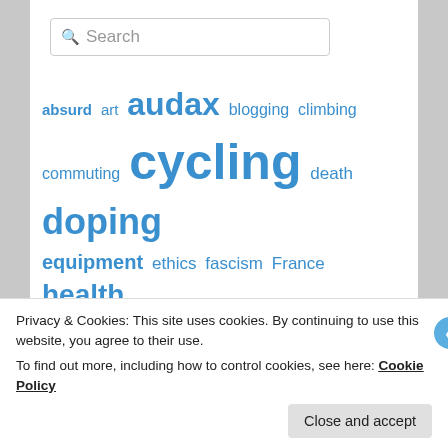[Figure (screenshot): Search input box with magnifying glass icon and 'Search' placeholder text]
absurd art audax blogging climbing commuting cycling death doping equipment ethics fascism France health injuries love mapping memories music physiology politics psychology racing randonneur randonnée ride reports Sportive superheroes Uncategorized vintage
Privacy & Cookies: This site uses cookies. By continuing to use this website, you agree to their use.
To find out more, including how to control cookies, see here: Cookie Policy
Close and accept